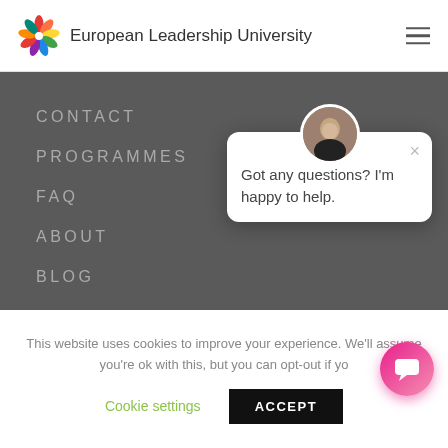[Figure (logo): European Leadership University colorful pinwheel logo with rainbow-colored petals]
European Leadership University
CONTACT
PROGRAMMES
FAQ
ABOUT
BLOG
QUICK LINKS
[Figure (screenshot): Chat popup with avatar photo of a woman, close button, and message: Got any questions? I'm happy to help.]
Got any questions? I'm happy to help.
This website uses cookies to improve your experience. We'll assume you're ok with this, but you can opt-out if yo
Cookie settings
ACCEPT